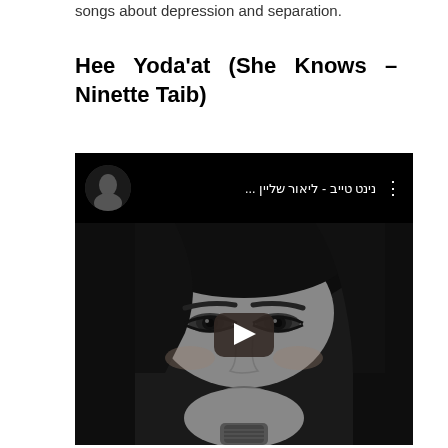songs about depression and separation.
Hee Yoda'at (She Knows – Ninette Taib)
[Figure (screenshot): YouTube video embed showing a black-and-white close-up of a woman's face with dark hair and dramatic eye makeup, holding a microphone. The video header shows a circular avatar of a musician and Hebrew text reading 'נינט טייב - ליאור שליין ...' with a three-dot menu icon. A play button appears in the center of the thumbnail.]